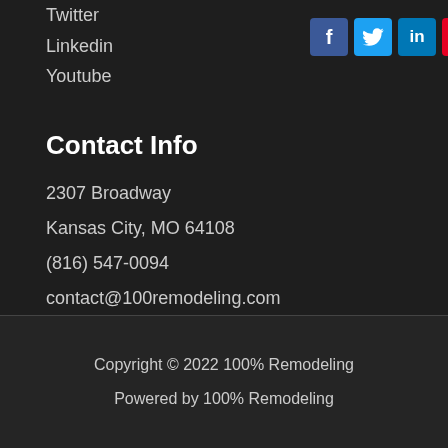Twitter
Linkedin
Youtube
[Figure (infographic): Social media icon buttons: Facebook (blue), Twitter (light blue), LinkedIn (blue), Pinterest (red)]
Contact Info
2307 Broadway
Kansas City, MO 64108
(816) 547-0094
contact@100remodeling.com
Copyright © 2022 100% Remodeling
Powered by 100% Remodeling